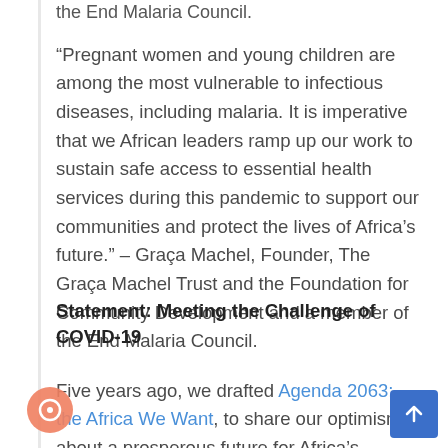the End Malaria Council.
“Pregnant women and young children are among the most vulnerable to infectious diseases, including malaria. It is imperative that we African leaders ramp up our work to sustain safe access to essential health services during this pandemic to support our communities and protect the lives of Africa’s future.” – Graça Machel, Founder, The Graça Machel Trust and the Foundation for Community Development and a member of the End Malaria Council.
Statement: Meeting the Challenge of COVID-19
Five years ago, we drafted Agenda 2063: the Africa We Want, to share our optimism about a prosperous future for Africa’s people, society and